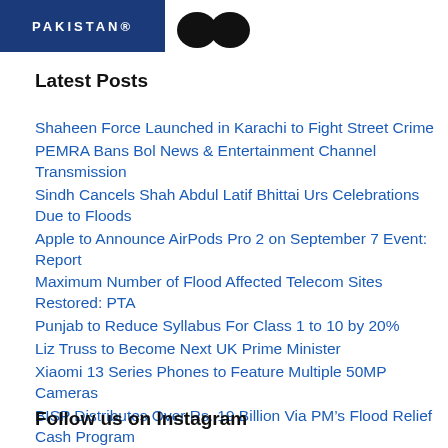PAKISTAN
Latest Posts
Shaheen Force Launched in Karachi to Fight Street Crime
PEMRA Bans Bol News & Entertainment Channel Transmission
Sindh Cancels Shah Abdul Latif Bhittai Urs Celebrations Due to Floods
Apple to Announce AirPods Pro 2 on September 7 Event: Report
Maximum Number of Flood Affected Telecom Sites Restored: PTA
Punjab to Reduce Syllabus For Class 1 to 10 by 20%
Liz Truss to Become Next UK Prime Minister
Xiaomi 13 Series Phones to Feature Multiple 50MP Cameras
BISP Distributes Over Rs. 19 Billion Via PM's Flood Relief Cash Program
Redmi Launching First Pro-Series Gaming Laptop on September 7
Follow us on Instagram